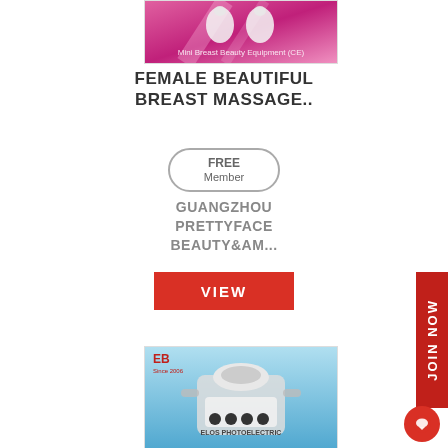[Figure (photo): Beauty product image with pink gradient background and text 'Mini Breast Beauty Equipment (CE)']
FEMALE BEAUTIFUL BREAST MASSAGE..
[Figure (other): FREE Member badge - rounded rectangle outline with 'FREE Member' text]
GUANGZHOU PRETTYFACE BEAUTY&AM...
[Figure (other): Red VIEW button]
[Figure (other): Red vertical JOIN NOW sidebar button]
[Figure (photo): Medical/beauty machine photo on blue background with text 'ELOS PHOTOELECTRIC' and EB logo]
[Figure (other): Red circular chat button]